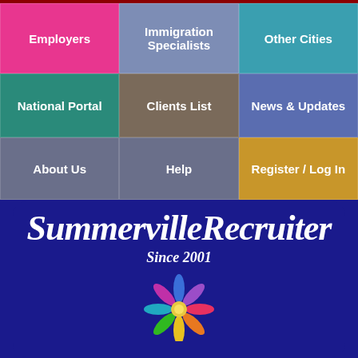[Figure (screenshot): Navigation menu grid with 9 colored cells: Employers (pink), Immigration Specialists (blue-gray), Other Cities (teal), National Portal (green), Clients List (brown), News & Updates (blue), About Us (gray-purple), Help (gray-purple), Register / Log In (gold)]
[Figure (logo): SummervilleRecruiter brand banner on dark blue background with italic bold white text, 'Since 2001' subtitle, and a colorful pinwheel/flower logo]
the smart solution for Summerville jobs
[Figure (screenshot): Google Translate widget: G logo followed by 'Select Language' text and dropdown arrow]